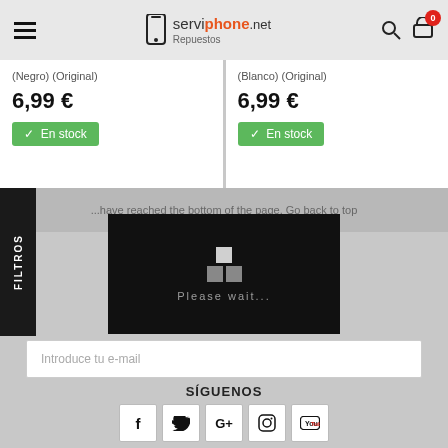[Figure (screenshot): serviphone.net website header with hamburger menu, phone logo, search icon, and cart icon with badge showing 0]
(Negro) (Original)
6,99 €
✓ En stock
(Blanco) (Original)
6,99 €
✓ En stock
FILTROS
...have reached the bottom of the page. Go back to top
[Figure (screenshot): Loading overlay popup with dark background, two small grey squares and text 'Please wait...']
Introduce tu e-mail
SÍGUENOS
[Figure (infographic): Social media icons row: Facebook (f), Twitter (bird), Google+ (G+), Instagram (camera), YouTube (tube logo)]